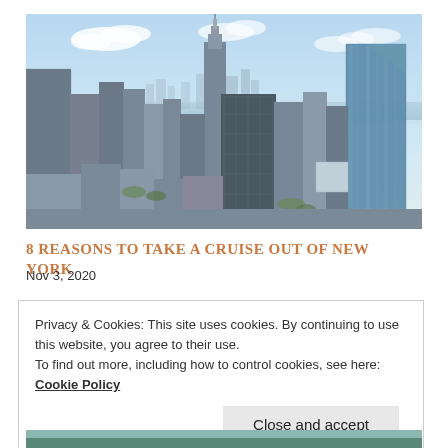[Figure (photo): Aerial/elevated view of New York City skyline showing Manhattan skyscrapers including the Empire State Building, with clear blue sky and distant buildings.]
8 REASONS TO TAKE A CRUISE OUT OF NEW YORK
Nov 3, 2020
Privacy & Cookies: This site uses cookies. By continuing to use this website, you agree to their use.
To find out more, including how to control cookies, see here: Cookie Policy
Close and accept
[Figure (photo): Partial bottom strip of what appears to be a coastal or waterfront scene.]